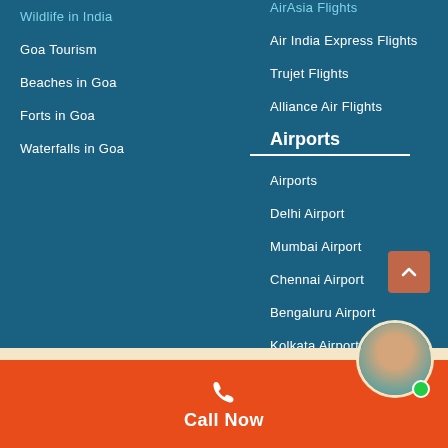Wildlife in India
Goa Tourism
Beaches in Goa
Forts in Goa
Waterfalls in Goa
AirAsia Flights
Air India Express Flights
Trujet Flights
Alliance Air Flights
Airports
Airports
Delhi Airport
Mumbai Airport
Chennai Airport
Bengaluru Airport
Kolkata Airport
Pune Airport
Goa Airport
Call Now